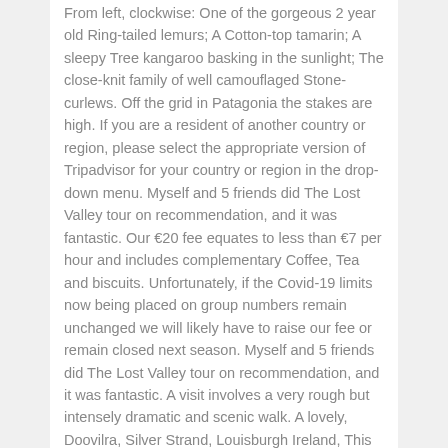From left, clockwise: One of the gorgeous 2 year old Ring-tailed lemurs; A Cotton-top tamarin; A sleepy Tree kangaroo basking in the sunlight; The close-knit family of well camouflaged Stone-curlews. Off the grid in Patagonia the stakes are high. If you are a resident of another country or region, please select the appropriate version of Tripadvisor for your country or region in the drop-down menu. Myself and 5 friends did The Lost Valley tour on recommendation, and it was fantastic. Our €20 fee equates to less than €7 per hour and includes complementary Coffee, Tea and biscuits. Unfortunately, if the Covid-19 limits now being placed on group numbers remain unchanged we will likely have to raise our fee or remain closed next season. Myself and 5 friends did The Lost Valley tour on recommendation, and it was fantastic. A visit involves a very rough but intensely dramatic and scenic walk. A lovely, Doovilra, Silver Strand, Louisburgh Ireland, This place is truly a "hidden gem" and definitely off the beaten track. The Lost Valley is a sweeping saga of ambition, betrayal and dangerous love. A vision for the future is that the Lost Valley are to be recognised as being "as good as Kylemore Abbey!". This is a management system that optimises the pasture and shelter that the mountainous terrain has to